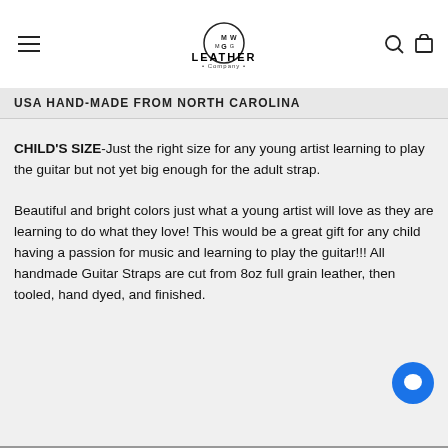MW Leather & Company
USA HAND-MADE FROM NORTH CAROLINA
CHILD'S SIZE-Just the right size for any young artist learning to play the guitar but not yet big enough for the adult strap.
Beautiful and bright colors just what a young artist will love as they are learning to do what they love! This would be a great gift for any child having a passion for music and learning to play the guitar!!! All handmade Guitar Straps are cut from 8oz full grain leather, then tooled, hand dyed, and finished.